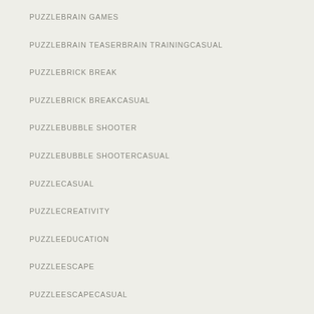PUZZLEBRAIN GAMES
PUZZLEBRAIN TEASERBRAIN TRAININGCASUAL
PUZZLEBRICK BREAK
PUZZLEBRICK BREAKCASUAL
PUZZLEBUBBLE SHOOTER
PUZZLEBUBBLE SHOOTERCASUAL
PUZZLECASUAL
PUZZLECREATIVITY
PUZZLEEDUCATION
PUZZLEESCAPE
PUZZLEESCAPECASUAL
PUZZLEHIDDEN OBJECTCASUAL